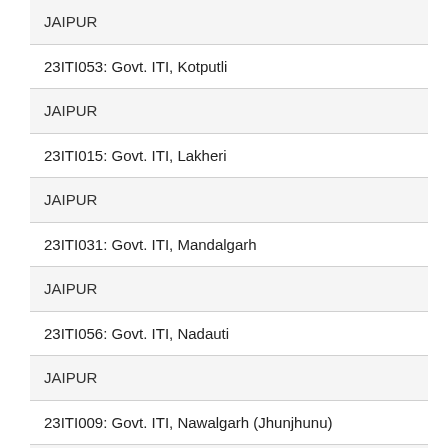| JAIPUR |
| 23ITI053: Govt. ITI, Kotputli |
| JAIPUR |
| 23ITI015: Govt. ITI, Lakheri |
| JAIPUR |
| 23ITI031: Govt. ITI, Mandalgarh |
| JAIPUR |
| 23ITI056: Govt. ITI, Nadauti |
| JAIPUR |
| 23ITI009: Govt. ITI, Nawalgarh (Jhunjhunu) |
| JAIPUR |
| 23ITI069: Govt. ITI, Neerana |